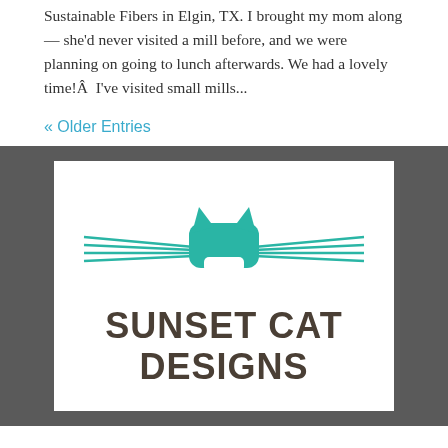Sustainable Fibers in Elgin, TX. I brought my mom along — she'd never visited a mill before, and we were planning on going to lunch afterwards. We had a lovely time!Â  I've visited small mills...
« Older Entries
[Figure (logo): Sunset Cat Designs logo with teal cat face silhouette and whisker lines on white background with dark gray border]